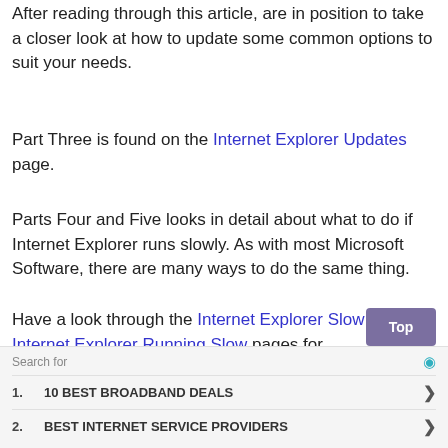After reading through this article, are in position to take a closer look at how to update some common options to suit your needs.
Part Three is found on the Internet Explorer Updates page.
Parts Four and Five looks in detail about what to do if Internet Explorer runs slowly. As with most Microsoft Software, there are many ways to do the same thing.
Have a look through the Internet Explorer Slow and Internet Explorer Running Slow pages for
[Figure (other): Advertisement overlay with 'Top' button, search bar, and two sponsored links: '10 BEST BROADBAND DEALS' and 'BEST INTERNET SERVICE PROVIDERS']